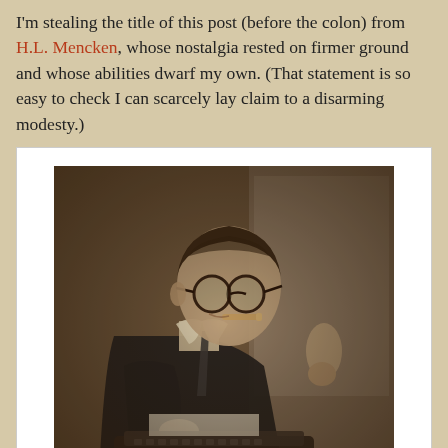I'm stealing the title of this post (before the colon) from H.L. Mencken, whose nostalgia rested on firmer ground and whose abilities dwarf my own. (That statement is so easy to check I can scarcely lay claim to a disarming modesty.)
[Figure (photo): Black and white / sepia photograph of a man with round glasses and a cigar in his mouth, bent over a typewriter, wearing a dark suit and tie. Another person in a tweed jacket stands behind him.]
The newspaper's ambiance in Mencken's day was close to that in most of my career, oddly enough.
But my nostalgia has a more ironic cast, perhaps, because